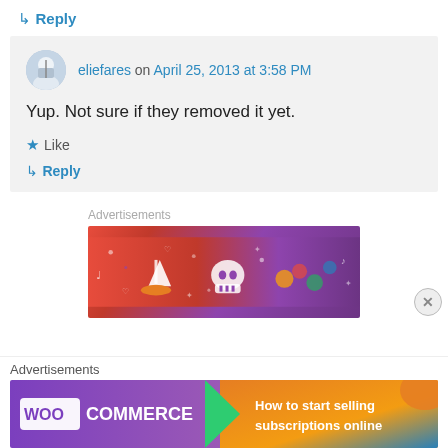↳ Reply
eliefares on April 25, 2013 at 3:58 PM
Yup. Not sure if they removed it yet.
★ Like
↳ Reply
Advertisements
[Figure (illustration): Colorful sticker-style advertisement banner with a sailboat, skull, and decorative elements on a red-to-purple gradient background]
Advertisements
[Figure (illustration): WooCommerce advertisement banner: purple background with WooCommerce logo and text 'How to start selling subscriptions online']